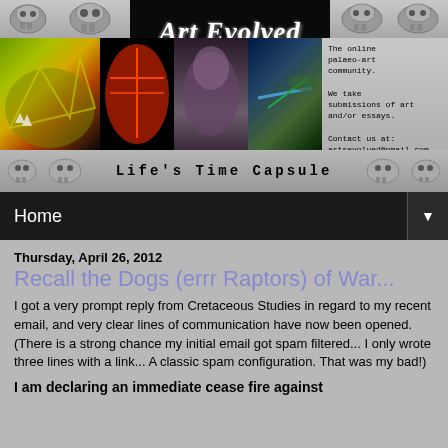[Figure (screenshot): Art Evolved website banner with logo, dinosaur photos, and 'Life's Time Capsule' tagline on metallic background]
Home ▼
Thursday, April 26, 2012
Recall the Dogs (errr Raptors) of War...
I got a very prompt reply from Cretaceous Studies in regard to my recent email, and very clear lines of communication have now been opened. (There is a strong chance my initial email got spam filtered... I only wrote three lines with a link... A classic spam configuration. That was my bad!)
I am declaring an immediate cease fire against